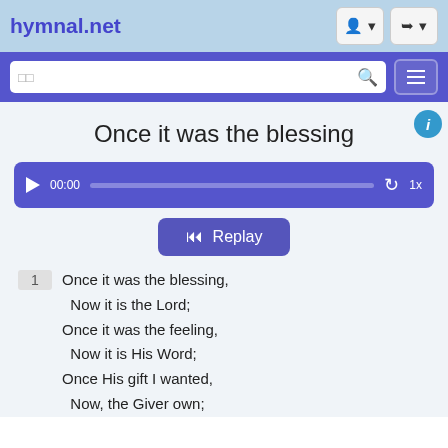hymnal.net
[Figure (screenshot): Search bar with magnifying glass icon and hamburger menu button on purple background]
Once it was the blessing
[Figure (other): Audio player bar with play button, 00:00 timestamp, progress bar, replay icon, and 1x speed control]
[Figure (other): Replay button with skip-back icon]
1   Once it was the blessing,
    Now it is the Lord;
Once it was the feeling,
    Now it is His Word;
Once His gift I wanted,
    Now, the Giver own;